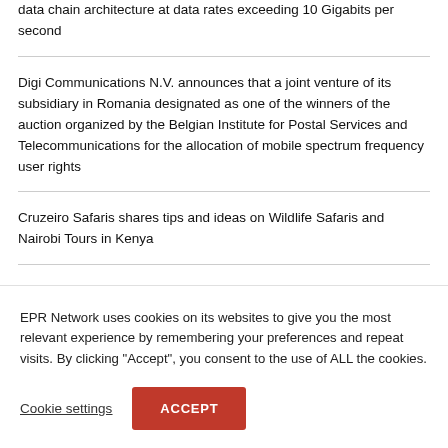data chain architecture at data rates exceeding 10 Gigabits per second
Digi Communications N.V. announces that a joint venture of its subsidiary in Romania designated as one of the winners of the auction organized by the Belgian Institute for Postal Services and Telecommunications for the allocation of mobile spectrum frequency user rights
Cruzeiro Safaris shares tips and ideas on Wildlife Safaris and Nairobi Tours in Kenya
KI-basierte Geldanlage für Privatpersonen – Velvet...
EPR Network uses cookies on its websites to give you the most relevant experience by remembering your preferences and repeat visits. By clicking "Accept", you consent to the use of ALL the cookies.